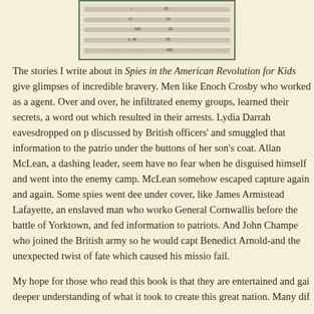[Figure (other): A scanned image of a historical handwritten ledger or document with rows of text and numbers, bordered by a dark green/teal rectangular frame.]
The stories I write about in Spies in the American Revolution for Kids give glimpses of incredible bravery. Men like Enoch Crosby who worked as a agent. Over and over, he infiltrated enemy groups, learned their secrets, a word out which resulted in their arrests. Lydia Darrah eavesdropped on p discussed by British officers' and smuggled that information to the patrio under the buttons of her son's coat. Allan McLean, a dashing leader, seem have no fear when he disguised himself and went into the enemy camp. McLean somehow escaped capture again and again. Some spies went dee under cover, like James Armistead Lafayette, an enslaved man who worko General Cornwallis before the battle of Yorktown, and fed information to patriots. And John Champe who joined the British army so he would capt Benedict Arnold-and the unexpected twist of fate which caused his missio fail.
My hope for those who read this book is that they are entertained and gai deeper understanding of what it took to create this great nation. Many dif